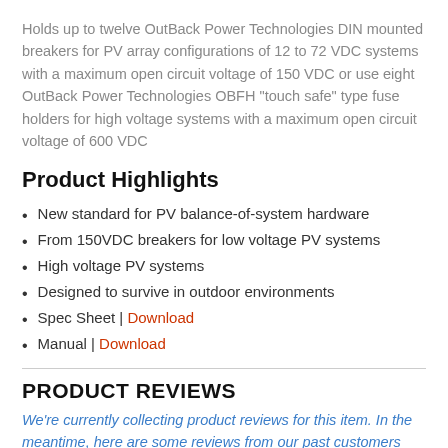Holds up to twelve OutBack Power Technologies DIN mounted breakers for PV array configurations of 12 to 72 VDC systems with a maximum open circuit voltage of 150 VDC or use eight OutBack Power Technologies OBFH "touch safe" type fuse holders for high voltage systems with a maximum open circuit voltage of 600 VDC
Product Highlights
New standard for PV balance-of-system hardware
From 150VDC breakers for low voltage PV systems
High voltage PV systems
Designed to survive in outdoor environments
Spec Sheet | Download
Manual | Download
PRODUCT REVIEWS
We're currently collecting product reviews for this item. In the meantime, here are some reviews from our past customers sharing their overall shopping experience.
[Figure (other): Green rating box showing 4.7 score]